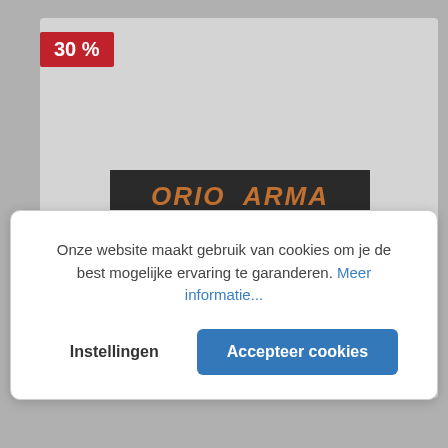[Figure (screenshot): E-commerce product card with a dark band showing 'GIORGIO ARMA' (Emporio Armani) branding, partially visible behind a cookie consent dialog. Red badge showing '30 %' discount in top left. Product label 'Trunk - A516' at bottom.]
Onze website maakt gebruik van cookies om je de best mogelijke ervaring te garanderen. Meer informatie...
Instellingen
Accepteer cookies
Trunk - A516